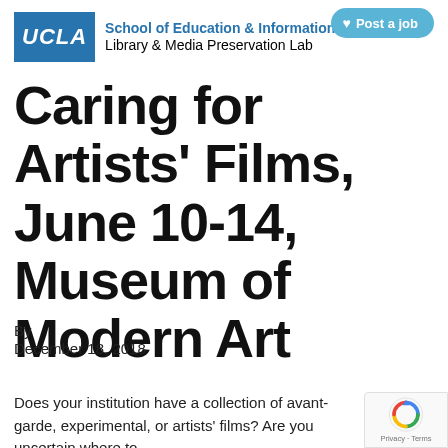UCLA School of Education & Information Studies Library & Media Preservation Lab
Caring for Artists' Films, June 10-14, Museum of Modern Art
By
December 18, 2018
Does your institution have a collection of avant-garde, experimental, or artists' films? Are you uncertain where to